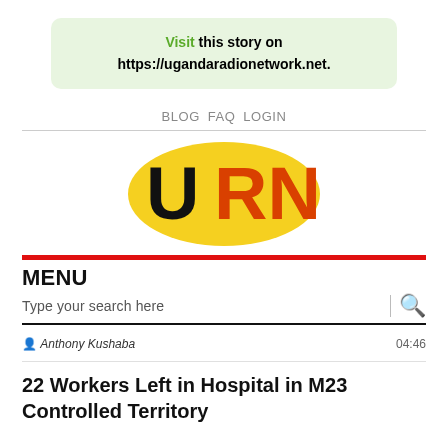Visit this story on https://ugandaradionetwork.net.
BLOG   FAQ   LOGIN
[Figure (logo): URN (Uganda Radio Network) logo — yellow oval with black U and orange RN letters]
MENU
Type your search here
Anthony Kushaba   04:46
22 Workers Left in Hospital in M23 Controlled Territory